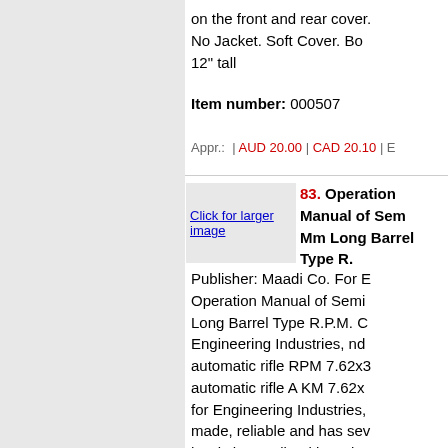on the front and rear cover. No Jacket. Soft Cover. Book is 12" tall
Item number: 000507
Appr.: | AUD 20.00 | CAD 20.10 | E
[Figure (other): Click for larger image placeholder]
83. Operation Manual of Semi... Mm Long Barrel Type R.P... Publisher: Maadi Co. For E... Operation Manual of Semi... Long Barrel Type R.P.M. C... Engineering Industries, nd... automatic rifle RPM 7.62x3... automatic rifle A KM 7.62x... for Engineering Industries,... made, reliable and has sev... hard chrome-lined barrel a... double-roped springs and ... The RPM fires the M 1943... cartridges. Best firing resu... yard. Well trained riflemen... at ranges of up to 650 yard... ranges of up to 1650 year... weapon, in which the gas i... in the stationary barrel and...